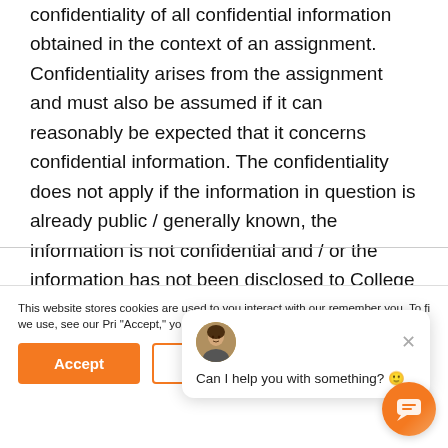confidentiality of all confidential information obtained in the context of an assignment. Confidentiality arises from the assignment and must also be assumed if it can reasonably be expected that it concerns confidential information. The confidentiality does not apply if the information in question is already public / generally known, the information is not confidential and / or the information has not been disclosed to College Life by the Client during the Agreement and / or has been
This website stores cookies are used to you interact with our remember you. To fi we use, see our Pri "Accept," you agree with our Cookie Statement.
Can I help you with something? 🙂